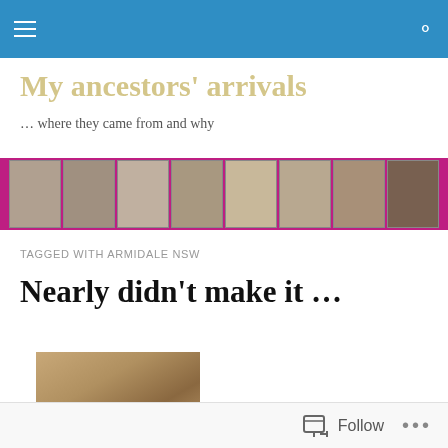My ancestors' arrivals
… where they came from and why
[Figure (photo): A horizontal strip of sepia/black-and-white historical portrait photographs on a magenta/pink background showing approximately 8 vintage portrait photos of ancestors]
TAGGED WITH ARMIDALE NSW
Nearly didn't make it …
[Figure (photo): A sepia-toned historical portrait photograph showing a person's face and upper body]
Follow